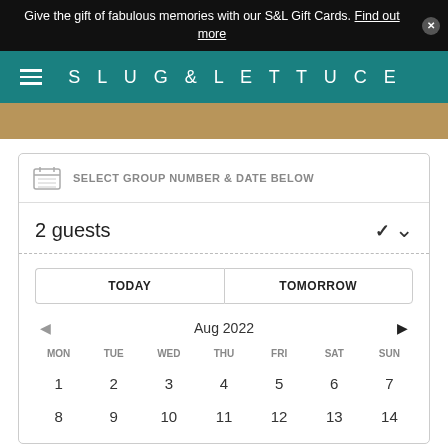Give the gift of fabulous memories with our S&L Gift Cards. Find out more
SLUG & LETTUCE
SELECT GROUP NUMBER & DATE BELOW
2 guests
TODAY
TOMORROW
Aug 2022
MON TUE WED THU FRI SAT SUN
1 2 3 4 5 6 7
8 9 10 11 12 13 14